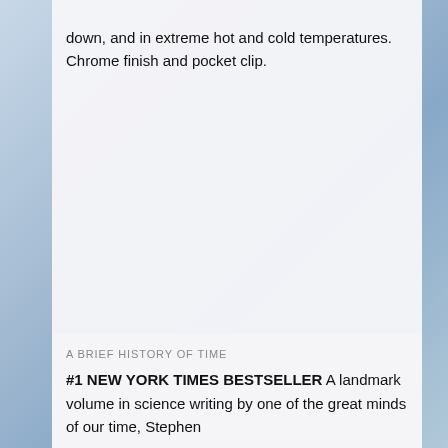down, and in extreme hot and cold temperatures. Chrome finish and pocket clip.
A BRIEF HISTORY OF TIME
#1 NEW YORK TIMES BESTSELLER A landmark volume in science writing by one of the great minds of our time, Stephen